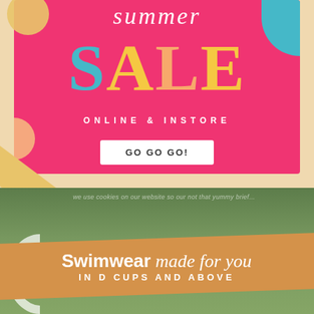summer SALE
ONLINE & INSTORE
GO GO GO!
[Figure (photo): Outdoor poolside photo with woman, used as background for swimwear advertisement]
we use cookies on our website so our not that yummy brief...
Swimwear made for you IN D CUPS AND ABOVE